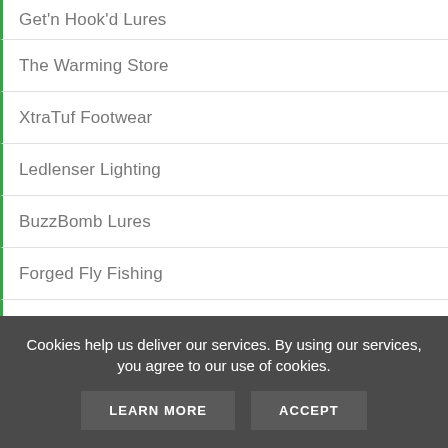Get'n Hook'd Lures
The Warming Store
XtraTuf Footwear
Ledlenser Lighting
BuzzBomb Lures
Forged Fly Fishing
Spitfire Fishing Products
Lucky Bug Lures
iWader
Dead End Lures
Cookies help us deliver our services. By using our services, you agree to our use of cookies.